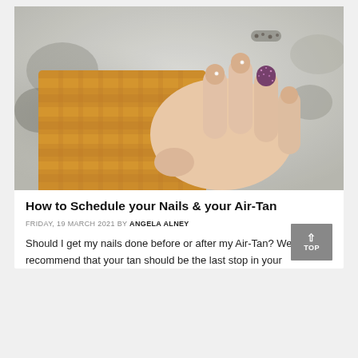[Figure (photo): Close-up photo of a woman's hand with decorated nails — nude/beige polish, a glitter dark purple accent nail, rhinestone embellishments — gripping a chunky mustard yellow knit fabric, with a blurred background.]
How to Schedule your Nails & your Air-Tan
FRIDAY, 19 MARCH 2021 BY ANGELA ALNEY
Should I get my nails done before or after my Air-Tan? We recommend that your tan should be the last stop in your